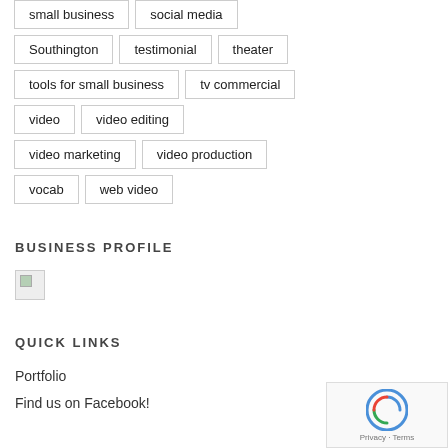small business
social media
Southington
testimonial
theater
tools for small business
tv commercial
video
video editing
video marketing
video production
vocab
web video
BUSINESS PROFILE
[Figure (photo): Broken/missing image placeholder]
QUICK LINKS
Portfolio
Find us on Facebook!